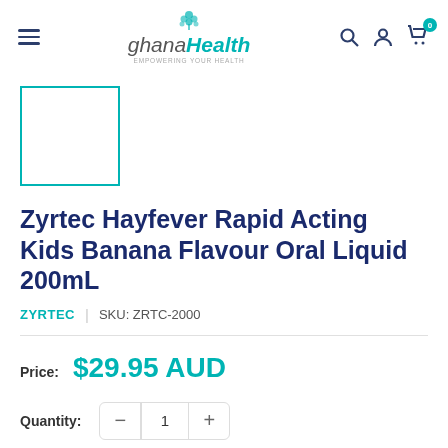ghanaHealth
[Figure (photo): Product image placeholder — teal-bordered empty square]
Zyrtec Hayfever Rapid Acting Kids Banana Flavour Oral Liquid 200mL
ZYRTEC | SKU: ZRTC-2000
Price: $29.95 AUD
Quantity: 1